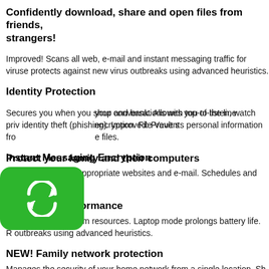Confidently download, share and open files from friends, strangers!
Improved! Scans all web, e-mail and instant messaging traffic for viruses, protects against new virus outbreaks using advanced heuristics.
Identity Protection
Secures you when you shop and bank. Allowes you to listen, watch private identity theft (phishing). Improved: Prevents personal information fro
Instant Messaging Encryption
[Figure (logo): Green rounded square icon with a sync/refresh arrows symbol in white]
your conversations with top-of-the line encryption. File Vault s e files.
Protect your family and their computers
Blocks access to inappropriate websites and e-mail. Schedules and lim applications.
Fine-tuned performance
Uses very little system resources. Laptop mode prolongs battery life. R outbreaks using advanced heuristics.
NEW! Family network protection
Manages the security of your home network from a single location. Sh